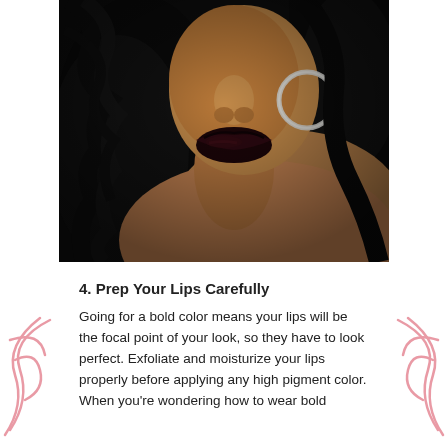[Figure (photo): Close-up photo of a woman with dark curly hair wearing dark/black-burgundy bold lipstick and a hoop earring, with bare shoulder visible, dramatic beauty editorial style.]
4. Prep Your Lips Carefully
Going for a bold color means your lips will be the focal point of your look, so they have to look perfect. Exfoliate and moisturize your lips properly before applying any high pigment color. When you're wondering how to wear bold